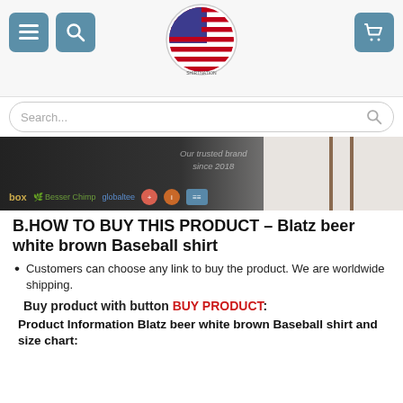Navigation bar with menu, search, logo, and cart buttons
[Figure (screenshot): Website header with hamburger menu button, search button, American flag circular logo for Shirtnation, and shopping cart button on a white background]
Search...
[Figure (photo): Hero banner image showing dark wood table background with a white shirt, text 'Our trusted brand since 2018', and partner logos including box, globaltee, and other brand icons]
B.HOW TO BUY THIS PRODUCT – Blatz beer white brown Baseball shirt
Customers can choose any link to buy the product. We are worldwide shipping.
Buy product with button BUY PRODUCT:
Product Information Blatz beer white brown Baseball shirt and size chart: